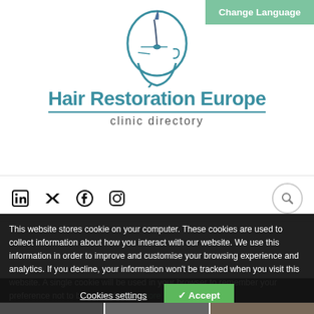[Figure (logo): Hair Restoration Europe clinic directory logo with stylized head profile outline in teal and a hair follicle/needle graphic, with text 'Hair Restoration Europe' and 'clinic directory']
Change Language
[Figure (infographic): Social media icons: LinkedIn, Twitter, Facebook, Instagram, and a search icon on the right]
This website stores cookie on your computer. These cookies are used to collect information about how you interact with our website.  We use this information in order to improve and customise your browsing experience and analytics. If you decline, your information won't be tracked when you visit this website. A single cookie will be used in your browser to remember your preference not to be tracked. View more
Cookies settings
✓ Accept